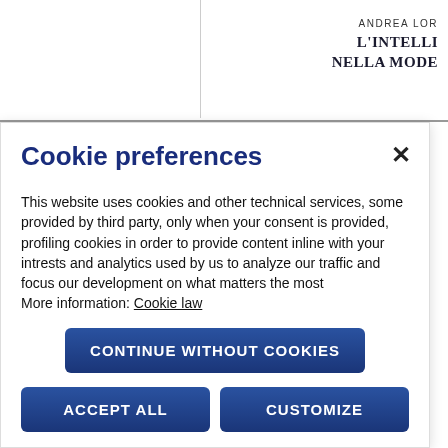ANDREA LOR
L'INTELL
NELLA MODE
Cookie preferences
This website uses cookies and other technical services, some provided by third party, only when your consent is provided, profiling cookies in order to provide content inline with your intrests and analytics used by us to analyze our traffic and focus our development on what matters the most
More information: Cookie law
CONTINUE WITHOUT COOKIES
ACCEPT ALL
CUSTOMIZE